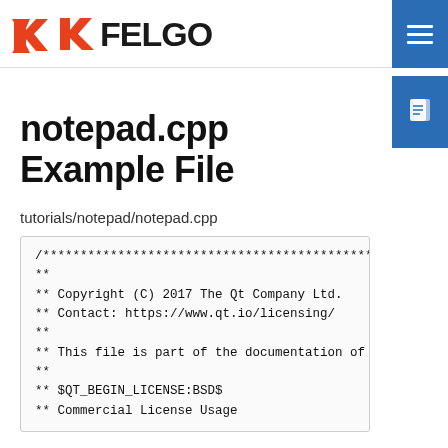FELGO
notepad.cpp Example File
tutorials/notepad/notepad.cpp
/***************************************************
**
** Copyright (C) 2017 The Qt Company Ltd.
** Contact: https://www.qt.io/licensing/
**
** This file is part of the documentation of the Qt
**
** $QT_BEGIN_LICENSE:BSD$
** Commercial License Usage